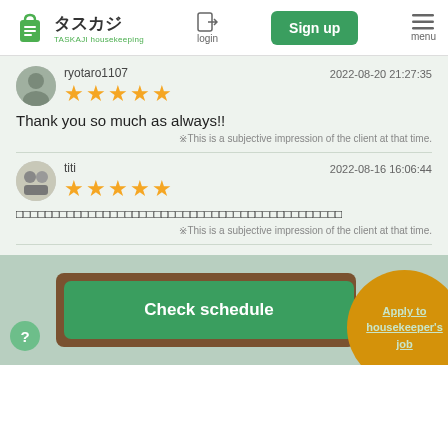[Figure (logo): TASKAJI housekeeping logo with Japanese text タスカジ and green bag icon]
login
Sign up
menu
ryotaro1107
2022-08-20 21:27:35
★★★★★
Thank you so much as always!!
※This is a subjective impression of the client at that time.
titi
2022-08-16 16:06:44
★★★★★
□□□□□□□□□□□□□□□□□□□□□□□□□□□□□□□□□□□□□□□□□□□□□
※This is a subjective impression of the client at that time.
Check schedule
Apply to housekeeper's job